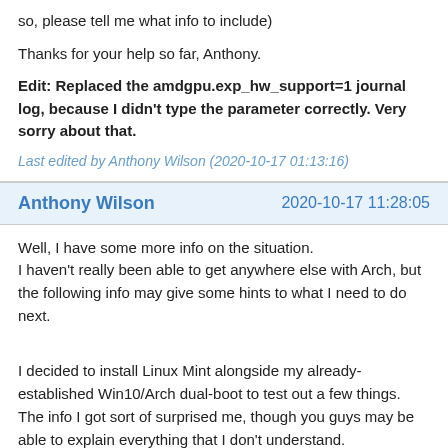so, please tell me what info to include)
Thanks for your help so far, Anthony.
Edit: Replaced the amdgpu.exp_hw_support=1 journal log, because I didn't type the parameter correctly. Very sorry about that.
Last edited by Anthony Wilson (2020-10-17 01:13:16)
Anthony Wilson	2020-10-17 11:28:05
Well, I have some more info on the situation. I haven't really been able to get anywhere else with Arch, but the following info may give some hints to what I need to do next.
I decided to install Linux Mint alongside my already-established Win10/Arch dual-boot to test out a few things. The info I got sort of surprised me, though you guys may be able to explain everything that I don't understand. What first surprised me was that the live USB didn't complain about video drivers at all - with the Arch live USB I had to use the nomodeset kernel parameter, but Linux Mint booted fine without it. The second thing that surprised me was that after installation it acted the same way - absolutely fine (though choppy, with obvious video